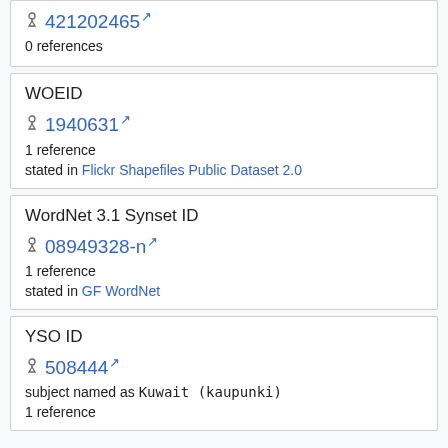421202465 [external link]
0 references
WOEID
1940631 [external link]
1 reference
stated in Flickr Shapefiles Public Dataset 2.0
WordNet 3.1 Synset ID
08949328-n [external link]
1 reference
stated in GF WordNet
YSO ID
508444 [external link]
subject named as Kuwait (kaupunki)
1 reference